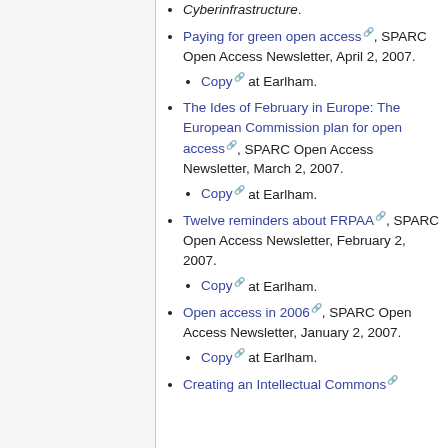Cyberinfrastructure.
Paying for green open access, SPARC Open Access Newsletter, April 2, 2007.
Copy at Earlham.
The Ides of February in Europe: The European Commission plan for open access, SPARC Open Access Newsletter, March 2, 2007.
Copy at Earlham.
Twelve reminders about FRPAA, SPARC Open Access Newsletter, February 2, 2007.
Copy at Earlham.
Open access in 2006, SPARC Open Access Newsletter, January 2, 2007.
Copy at Earlham.
Creating an Intellectual Commons